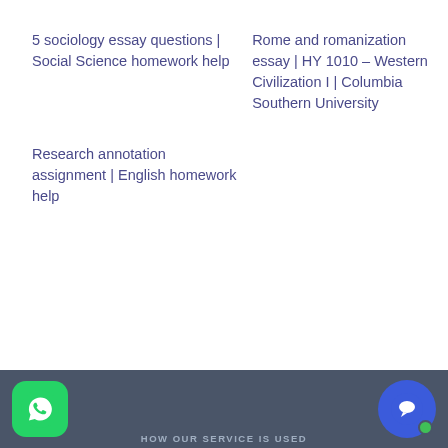5 sociology essay questions | Social Science homework help
Rome and romanization essay | HY 1010 – Western Civilization I | Columbia Southern University
Research annotation assignment | English homework help
HOW OUR SERVICE IS USED